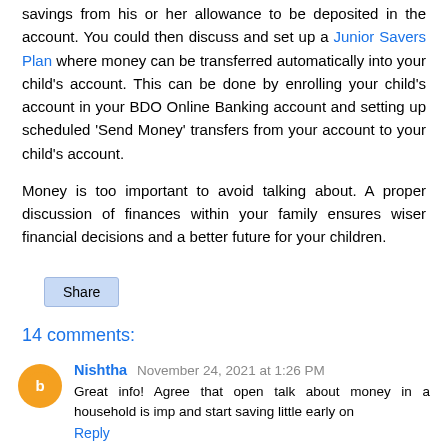savings from his or her allowance to be deposited in the account. You could then discuss and set up a Junior Savers Plan where money can be transferred automatically into your child's account. This can be done by enrolling your child's account in your BDO Online Banking account and setting up scheduled 'Send Money' transfers from your account to your child's account.
Money is too important to avoid talking about. A proper discussion of finances within your family ensures wiser financial decisions and a better future for your children.
Share
14 comments:
Nishtha  November 24, 2021 at 1:26 PM
Great info! Agree that open talk about money in a household is imp and start saving little early on
Reply